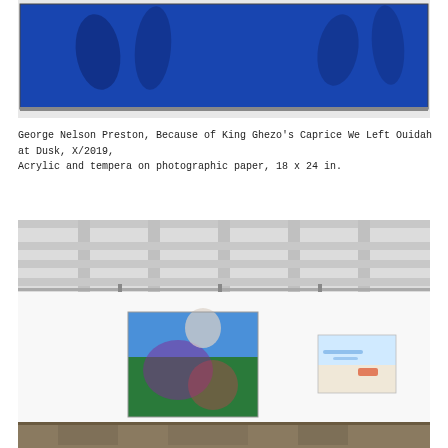[Figure (photo): Photograph of a large blue painting hung on a white gallery wall. The painting appears to be a deep cobalt/ultramarine blue with dark brushstroke figures visible on the surface. The work is framed and displayed against a white wall.]
George Nelson Preston, Because of King Ghezo's Caprice We Left Ouidah at Dusk, X/2019, Acrylic and tempera on photographic paper, 18 x 24 in.
[Figure (photo): Installation view of a gallery space showing two paintings hung on a white wall. The gallery has an exposed ceiling with white beams and track lighting. On the left is a larger painting with colorful abstract figures in blues, greens, and purples. On the right is a smaller landscape painting in lighter colors. The gallery floor is visible at the bottom.]